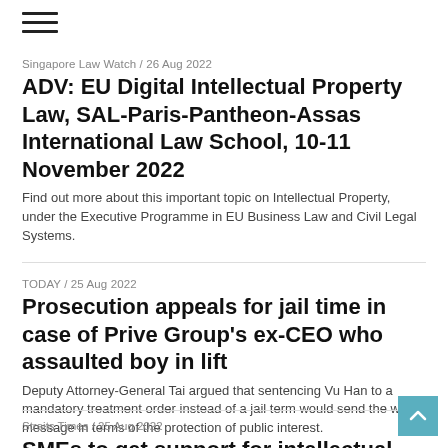[Figure (other): Hamburger menu icon (three horizontal bars)]
Singapore Law Watch / 26 Aug 2022
ADV: EU Digital Intellectual Property Law, SAL-Paris-Pantheon-Assas International Law School, 10-11 November 2022
Find out more about this important topic on Intellectual Property, under the Executive Programme in EU Business Law and Civil Legal Systems.
TODAY / 25 Aug 2022
Prosecution appeals for jail time in case of Prive Group's ex-CEO who assaulted boy in lift
Deputy Attorney-General Tai argued that sentencing Vu Han to a mandatory treatment order instead of a jail term would send the wrong message in terms of the protection of public interest.
Straits Times / 25 Aug 2022
SMEs to get support for intellectual property to grow